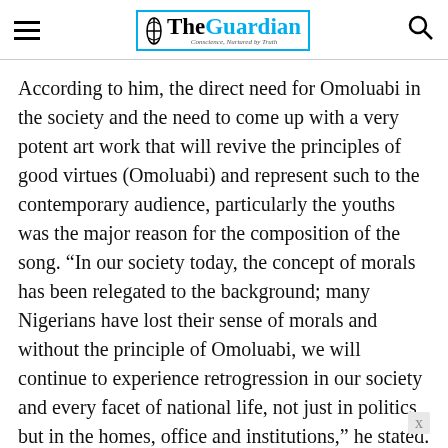The Guardian — Conscience, Nurtured by Truth
According to him, the direct need for Omoluabi in the society and the need to come up with a very potent art work that will revive the principles of good virtues (Omoluabi) and represent such to the contemporary audience, particularly the youths was the major reason for the composition of the song. “In our society today, the concept of morals has been relegated to the background; many Nigerians have lost their sense of morals and without the principle of Omoluabi, we will continue to experience retrogression in our society and every facet of national life, not just in politics but in the homes, office and institutions,” he stated.